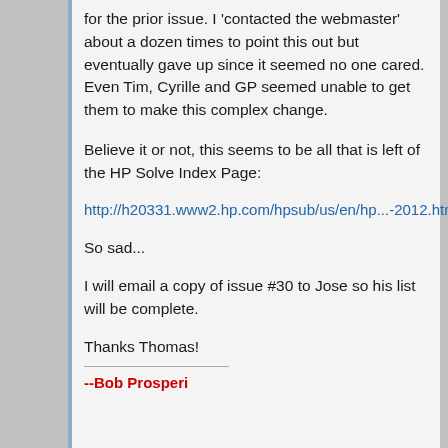for the prior issue. I 'contacted the webmaster' about a dozen times to point this out but eventually gave up since it seemed no one cared. Even Tim, Cyrille and GP seemed unable to get them to make this complex change.
Believe it or not, this seems to be all that is left of the HP Solve Index Page:
http://h20331.www2.hp.com/hpsub/us/en/hp...-2012.html
So sad...
I will email a copy of issue #30 to Jose so his list will be complete.
Thanks Thomas!
--Bob Prosperi
07-27-2019, 07:25 PM    Post: #19
frodesto  Junior Member    Posts: 4  Joined: Jul 2019